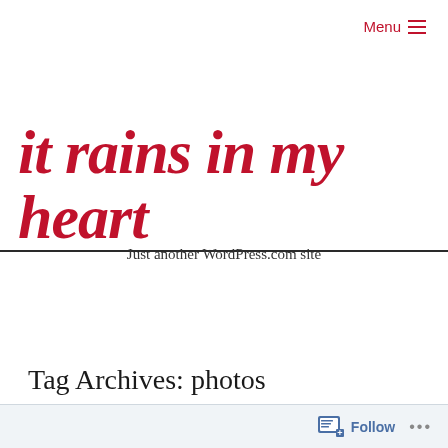Menu
it rains in my heart
Just another WordPress.com site
Tag Archives: photos
Follow